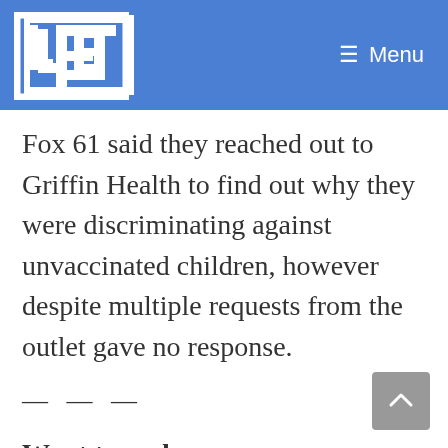Law Enforcement Today — Menu
Fox 61 said they reached out to Griffin Health to find out why they were discriminating against unvaccinated children, however despite multiple requests from the outlet gave no response.
— — —
Want to make sure you never miss a story from Law Enforcement Today?  With so much “stuff” happening in the world on social media, it’s easy for things to get lost